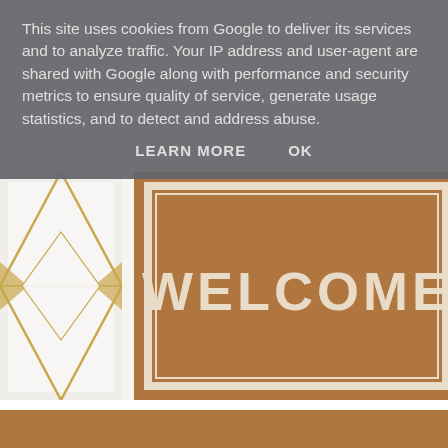This site uses cookies from Google to deliver its services and to analyze traffic. Your IP address and user-agent are shared with Google along with performance and security metrics to ensure quality of service, generate usage statistics, and to detect and address abuse.
LEARN MORE   OK
[Figure (photo): Left portion shows a white envelope with gold geometric diagonal lines design. Right portion shows a brown coir doormat with white border and the word WELCOME in large white letters.]
So, as I've mentioned, Paperless Post is an online retailer which allows you to design, create and send invites, cards and flyers. Not only can you manage your stationary through them, but you can also manage your event, all in one place.
[Figure (photo): Bottom strip showing the top portion of another coir welcome mat, brown textured surface visible.]